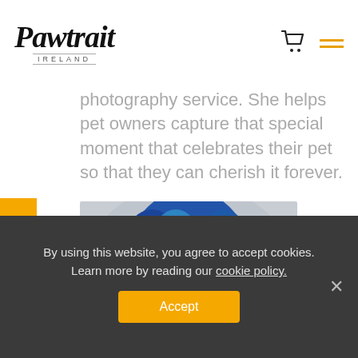Pawtrait IRELAND
photography service. She helps pet owners capture that special moment that celebrates their pet so that they can cherish it forever.
[Figure (photo): Portrait photo of a woman with blue/teal hair, smiling, against a light background.]
Call: 0857277844
By using this website, you agree to accept cookies. Learn more by reading our cookie policy.